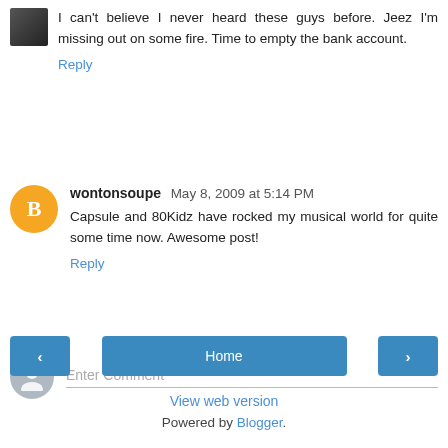I can't believe I never heard these guys before. Jeez I'm missing out on some fire. Time to empty the bank account.
Reply
wontonsoupe May 8, 2009 at 5:14 PM
Capsule and 80Kidz have rocked my musical world for quite some time now. Awesome post!
Reply
Enter Comment
Home
View web version
Powered by Blogger.